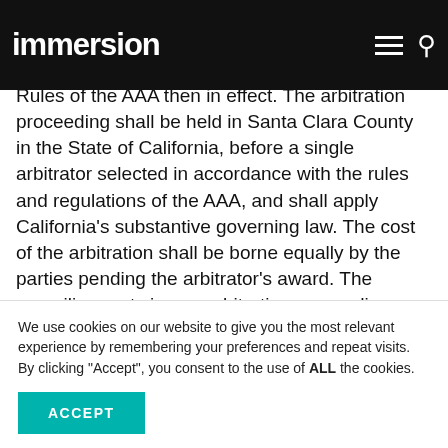immersion
arbitration to be conducted before the American Arbitration Association (the "AAA"), or its successor, in accordance with the Commercial Rules of the AAA then in effect.  The arbitration proceeding shall be held in Santa Clara County in the State of California, before a single arbitrator selected in accordance with the rules and regulations of the AAA, and shall apply California's substantive governing law.  The cost of the arbitration shall be borne equally by the parties pending the arbitrator's award.  The prevailing party in any arbitration proceeding or litigation hereunder shall be entitled, in addition to such other relief as may be granted, to recover reasonable...
We use cookies on our website to give you the most relevant experience by remembering your preferences and repeat visits. By clicking "Accept", you consent to the use of ALL the cookies.